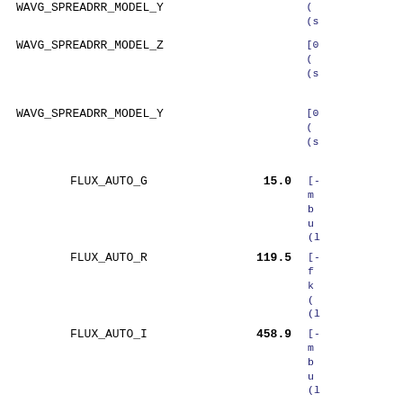WAVG_SPREADRR_MODEL_Z
WAVG_SPREADRR_MODEL_Y
FLUX_AUTO_G  15.0
FLUX_AUTO_R  119.5
FLUX_AUTO_I  458.9